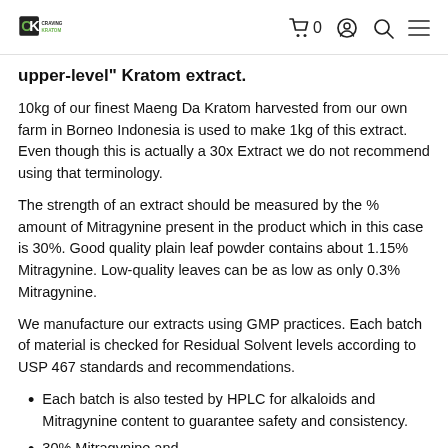Craving Kratom logo | cart 0 | account | search | menu
upper-level" Kratom extract.
10kg of our finest Maeng Da Kratom harvested from our own farm in Borneo Indonesia is used to make 1kg of this extract. Even though this is actually a 30x Extract we do not recommend using that terminology.
The strength of an extract should be measured by the % amount of Mitragynine present in the product which in this case is 30%. Good quality plain leaf powder contains about 1.15% Mitragynine. Low-quality leaves can be as low as only 0.3% Mitragynine.
We manufacture our extracts using GMP practices. Each batch of material is checked for Residual Solvent levels according to USP 467 standards and recommendations.
Each batch is also tested by HPLC for alkaloids and Mitragynine content to guarantee safety and consistency.
30% Mitragynine and